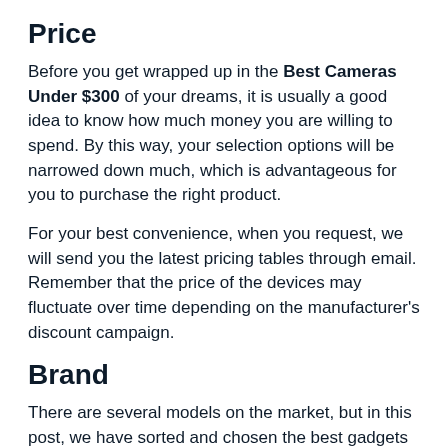Price
Before you get wrapped up in the Best Cameras Under $300 of your dreams, it is usually a good idea to know how much money you are willing to spend. By this way, your selection options will be narrowed down much, which is advantageous for you to purchase the right product.
For your best convenience, when you request, we will send you the latest pricing tables through email. Remember that the price of the devices may fluctuate over time depending on the manufacturer's discount campaign.
Brand
There are several models on the market, but in this post, we have sorted and chosen the best gadgets from the brand: Fujifilm, Vikeri, Digital Zone, EX-Canon,